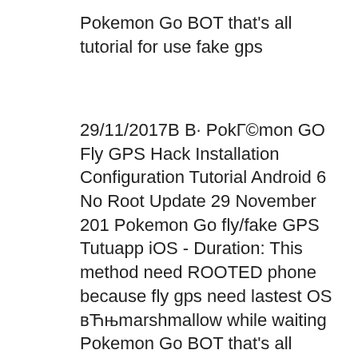Pokemon Go BOT that's all tutorial for use fake gps
29/11/2017В В· PokГ©mon GO Fly GPS Hack Installation Configuration Tutorial Android 6 No Root Update 29 November 201 Pokemon Go fly/fake GPS Tutuapp iOS - Duration: This method need ROOTED phone because fly gps need lastest OS вЋњmarshmallow while waiting Pokemon Go BOT that's all tutorial for use fake gps
I tried using Fly GPS without rooting the phone and I set up a test account to see if it would work. I was able to catch the starter Pokemon but... cuentas super baratas y chetadas de pokemon go